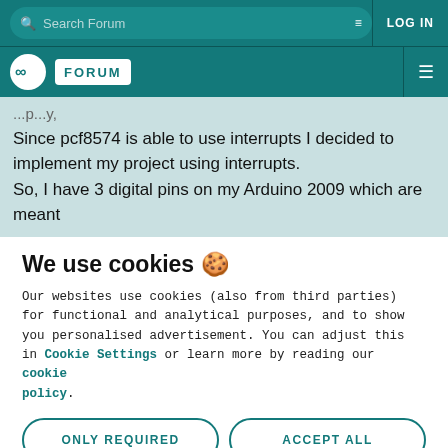Search Forum | LOG IN
Arduino FORUM
Since pcf8574 is able to use interrupts I decided to implement my project using interrupts.
So, I have 3 digital pins on my Arduino 2009 which are meant
We use cookies 🍪
Our websites use cookies (also from third parties) for functional and analytical purposes, and to show you personalised advertisement. You can adjust this in Cookie Settings or learn more by reading our cookie policy.
ONLY REQUIRED
ACCEPT ALL